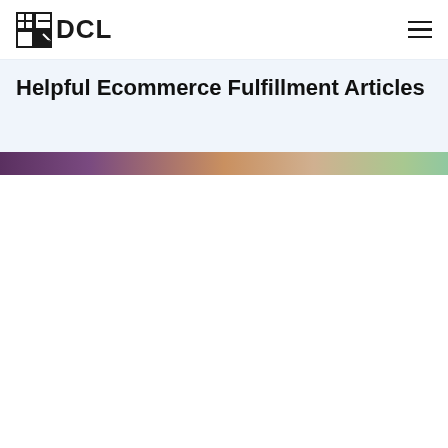DCL logo and navigation
Helpful Ecommerce Fulfillment Articles
[Figure (photo): Cropped photo of a person, partially visible at top of page]
This website stores cookies on your computer. These cookies are used to collect information about how you interact with our website and allow us to remember you. We use this information in order to improve and customize your browsing experience and for analytics and metrics about our visitors both on this website and other media. To find out more about the cookies we use, see our Privacy Policy
If you decline, your information won't be tracked when you visit this website. A single cookie will be used in your browser to remember your preference not to be tracked.
Accept
Decline